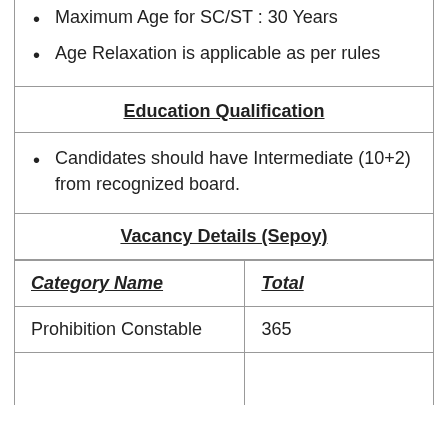Maximum Age for SC/ST : 30 Years
Age Relaxation is applicable as per rules
Education Qualification
Candidates should have Intermediate (10+2) from recognized board.
Vacancy Details (Sepoy)
| Category Name | Total |
| --- | --- |
| Prohibition Constable | 365 |
|  |  |